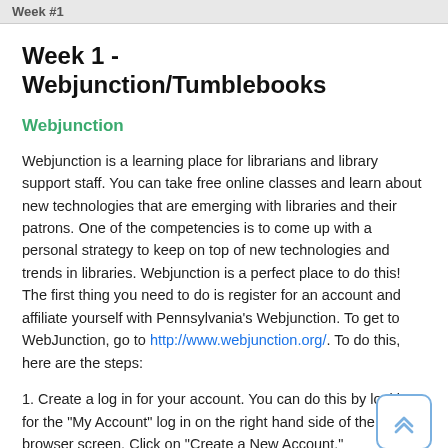Week #1
Week 1 - Webjunction/Tumblebooks
Webjunction
Webjunction is a learning place for librarians and library support staff. You can take free online classes and learn about new technologies that are emerging with libraries and their patrons. One of the competencies is to come up with a personal strategy to keep on top of new technologies and trends in libraries. Webjunction is a perfect place to do this! The first thing you need to do is register for an account and affiliate yourself with Pennsylvania's Webjunction. To get to WebJunction, go to http://www.webjunction.org/. To do this, here are the steps:
1. Create a log in for your account. You can do this by looking for the "My Account" log in on the right hand side of the browser screen. Click on "Create a New Account."
2. The next step will ask you for information about yourself and your job. Again, make sure you use your library email!
3. The next step asks you about your interests, subscription preferences and how you'd like to receive email. Complete these options and proceed by clicking "Next."